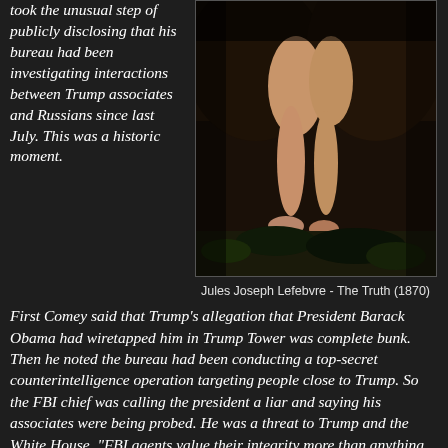took the unusual step of publicly disclosing that his bureau had been investigating interactions between Trump associates and Russians since last July. This was a historic moment.
[Figure (photo): Jules Joseph Lefebvre - The Truth (1870), a classical painting showing lower body/legs of a figure]
Jules Joseph Lefebvre - The Truth (1870)
First Comey said that Trump's allegation that President Barack Obama had wiretapped him in Trump Tower was complete bunk. Then he noted the bureau had been conducting a top-secret counterintelligence operation targeting people close to Trump. So the FBI chief was calling the president a liar and saying his associates were being probed. He was a threat to Trump and the White House. "FBI agents value their integrity more than anything and if